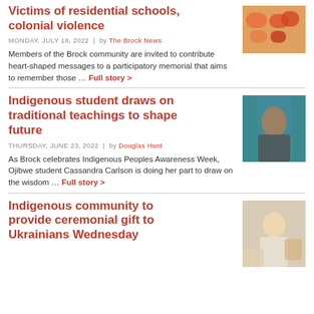Victims of residential schools, colonial violence
MONDAY, JULY 18, 2022 | by The Brock News
Members of the Brock community are invited to contribute heart-shaped messages to a participatory memorial that aims to remember those … Full story >
Indigenous student draws on traditional teachings to shape future
THURSDAY, JUNE 23, 2022 | by Douglas Hunt
As Brock celebrates Indigenous Peoples Awareness Week, Ojibwe student Cassandra Carlson is doing her part to draw on the wisdom … Full story >
Indigenous community to provide ceremonial gift to Ukrainians Wednesday